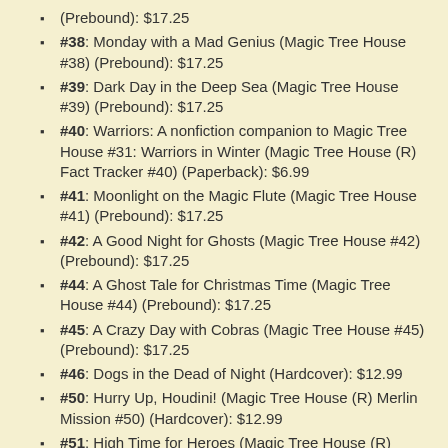(Prebound): $17.25
#38: Monday with a Mad Genius (Magic Tree House #38) (Prebound): $17.25
#39: Dark Day in the Deep Sea (Magic Tree House #39) (Prebound): $17.25
#40: Warriors: A nonfiction companion to Magic Tree House #31: Warriors in Winter (Magic Tree House (R) Fact Tracker #40) (Paperback): $6.99
#41: Moonlight on the Magic Flute (Magic Tree House #41) (Prebound): $17.25
#42: A Good Night for Ghosts (Magic Tree House #42) (Prebound): $17.25
#44: A Ghost Tale for Christmas Time (Magic Tree House #44) (Prebound): $17.25
#45: A Crazy Day with Cobras (Magic Tree House #45) (Prebound): $17.25
#46: Dogs in the Dead of Night (Hardcover): $12.99
#50: Hurry Up, Houdini! (Magic Tree House (R) Merlin Mission #50) (Hardcover): $12.99
#51: High Time for Heroes (Magic Tree House (R) Merlin